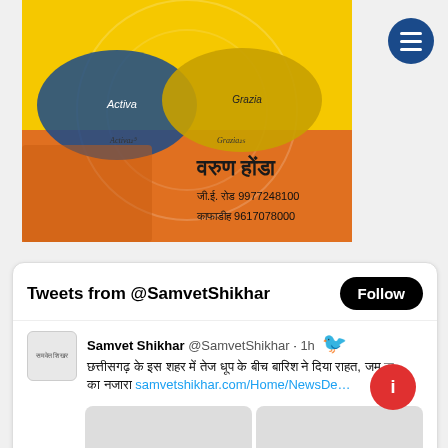[Figure (photo): Honda scooter advertisement showing two scooters (Activa and Grazia) on yellow/orange background with a woman in orange dress. Text in Hindi: वरुण होंडा, जी.ई. रोड 9977248100, काफाडीह 9617078000]
[Figure (screenshot): Twitter widget showing 'Tweets from @SamvetShikhar' with a Follow button and a tweet from Samvet Shikhar @SamvetShikhar 1h ago with Hindi text and link samvetshikhar.com/Home/NewsDe...]
[Figure (other): Red circular floating action button with an info/i icon]